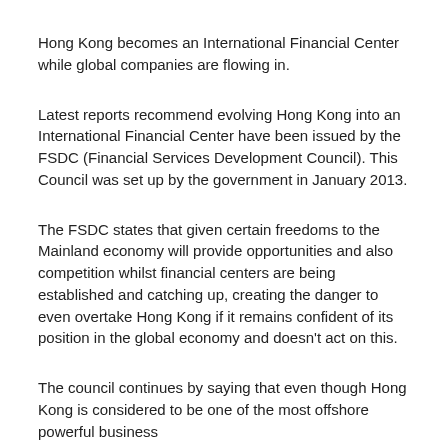Hong Kong becomes an International Financial Center while global companies are flowing in.
Latest reports recommend evolving Hong Kong into an International Financial Center have been issued by the FSDC (Financial Services Development Council). This Council was set up by the government in January 2013.
The FSDC states that given certain freedoms to the Mainland economy will provide opportunities and also competition whilst financial centers are being established and catching up, creating the danger to even overtake Hong Kong if it remains confident of its position in the global economy and doesn't act on this.
The council continues by saying that even though Hong Kong is considered to be one of the most offshore powerful business